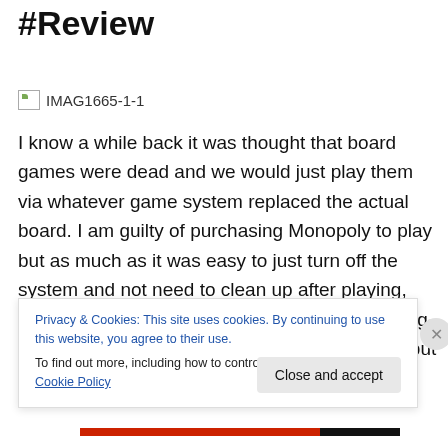#Review
[Figure (photo): Broken image placeholder labeled IMAG1665-1-1]
I know a while back it was thought that board games were dead and we would just play them via whatever game system replaced the actual board. I am guilty of purchasing Monopoly to play but as much as it was easy to just turn off the system and not need to clean up after playing, something was missing. Unsure if it is the setting-up process, not feeling or touching anything… but
Privacy & Cookies: This site uses cookies. By continuing to use this website, you agree to their use.
To find out more, including how to control cookies, see here: Cookie Policy
Close and accept